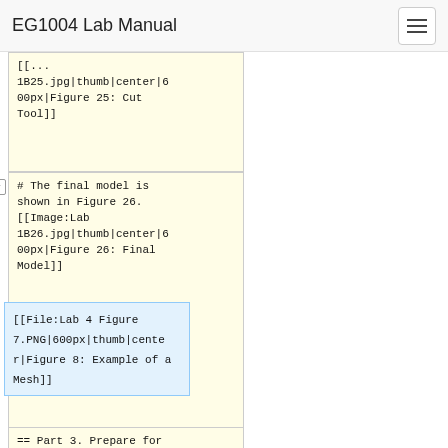EG1004 Lab Manual
[[Image:Lab 1B25.jpg|thumb|center|600px|Figure 25: Cut Tool]]
# The final model is shown in Figure 26.
[[Image:Lab 1B26.jpg|thumb|center|600px|Figure 26: Final Model]]
== Part 3. Prepare for Printing ==
[[File:Lab 4 Figure 7.PNG|600px|thumb|center|Figure 8: Example of a Mesh]]
Now that the logo design is complete, the next step is to